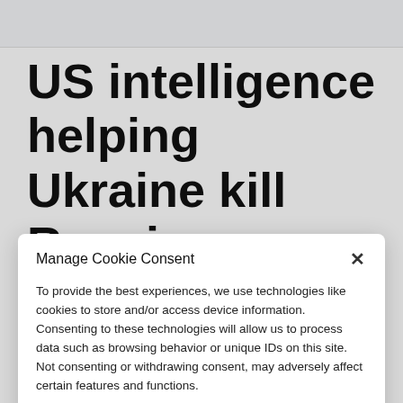US intelligence helping Ukraine kill Russian generals –NY
Manage Cookie Consent
To provide the best experiences, we use technologies like cookies to store and/or access device information. Consenting to these technologies will allow us to process data such as browsing behavior or unique IDs on this site. Not consenting or withdrawing consent, may adversely affect certain features and functions.
Accept
Cookie Policy